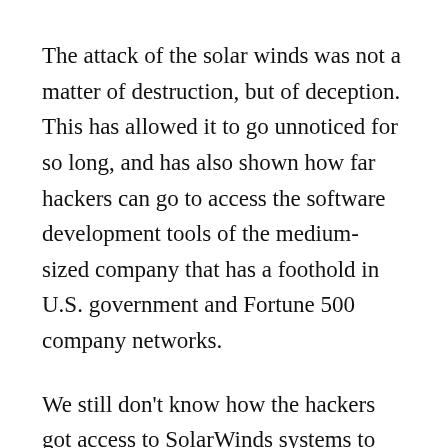The attack of the solar winds was not a matter of destruction, but of deception. This has allowed it to go unnoticed for so long, and has also shown how far hackers can go to access the software development tools of the medium-sized company that has a foothold in U.S. government and Fortune 500 company networks.
We still don't know how the hackers got access to SolarWinds systems to inject the malicious code. The company stated that its Microsoft email accounts had been